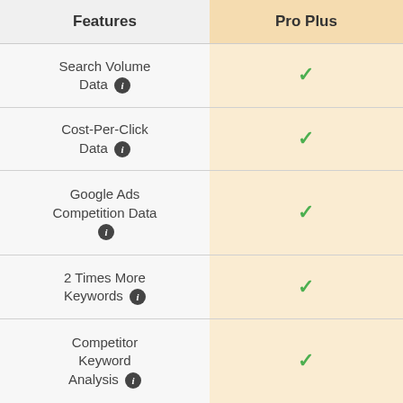| Features | Pro Plus |
| --- | --- |
| Search Volume Data ℹ | ✓ |
| Cost-Per-Click Data ℹ | ✓ |
| Google Ads Competition Data ℹ | ✓ |
| 2 Times More Keywords ℹ | ✓ |
| Competitor Keyword Analysis ℹ | ✓ |